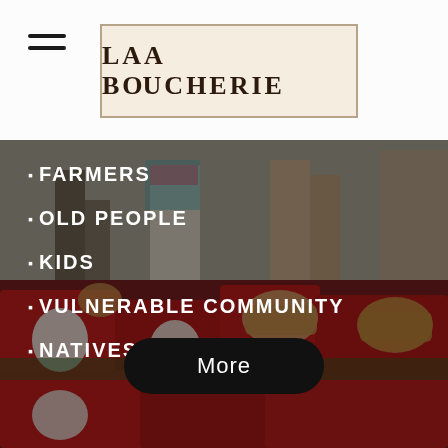[Figure (photo): Background photo showing people at a community event in the upper half, and red gift boxes with food jars arranged on a table in the lower half.]
LAA BOUCHERIE
FARMERS
OLD PEOPLE
KIDS
VULNERABLE COMMUNITY
NATIVES
More